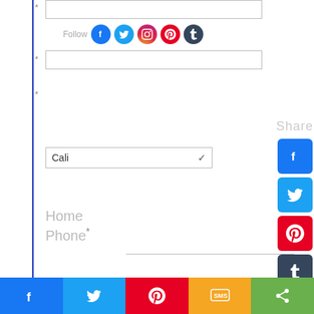[Figure (screenshot): Web form with input fields, city dropdown (Cali), Home Phone label and input, Submit button, Follow row with social icons (Facebook, Twitter, Instagram, Pinterest, Tumblr), Share sidebar with social square icons (Facebook, Twitter, Pinterest, Tumblr, Reddit, WhatsApp), Histats.com widget showing 'Vis. today 6', dark footer with 'All rights reserved Studio City Clinical', and bottom share bar with Facebook, Twitter, Pinterest, SMS, and share icons.]